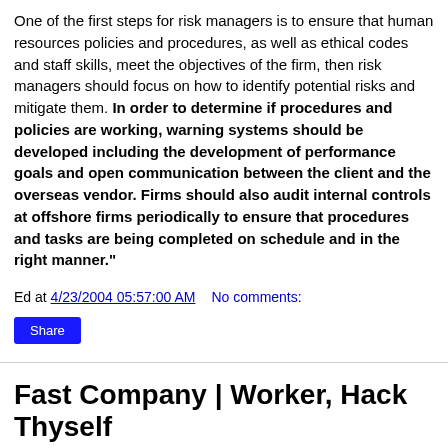One of the first steps for risk managers is to ensure that human resources policies and procedures, as well as ethical codes and staff skills, meet the objectives of the firm, then risk managers should focus on how to identify potential risks and mitigate them. In order to determine if procedures and policies are working, warning systems should be developed including the development of performance goals and open communication between the client and the overseas vendor. Firms should also audit internal controls at offshore firms periodically to ensure that procedures and tasks are being completed on schedule and in the right manner."
Ed at 4/23/2004 05:57:00 AM   No comments:
Share
Fast Company | Worker, Hack Thyself
Fast Company | Worker, Hack Thyself: